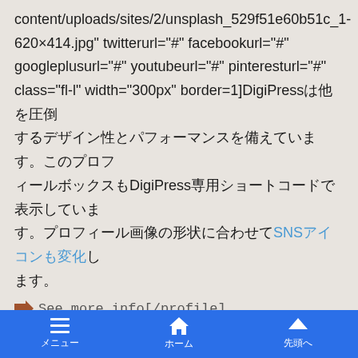content/uploads/sites/2/unsplash_529f51e60b51c_1-620×414.jpg" twitterurl="#" facebookurl="#" googleplusurl="#" youtubeurl="#" pinteresturl="#" class="fl-l" width="300px" border=1]DigiPressは他を圧倒するデザイン性とパフォーマンスを備えています。このプロフィールボックスもDigiPress専用ショートコードで表示しています。プロフィール画像の形状に合わせてSNSアイコンも変化します。
➡ See more info[/profile]
[profile name="Mr. DigiPress" profimgurl="http://digipress.digi-state.com/_wp/wp-content/uploads/2014/05/boy.jpg" profshape="square" topbgimgurl="http://demo.dtheme.net/dp7/wp-
≡ メニュー  ⌂ ホーム  ^ 先頭へ